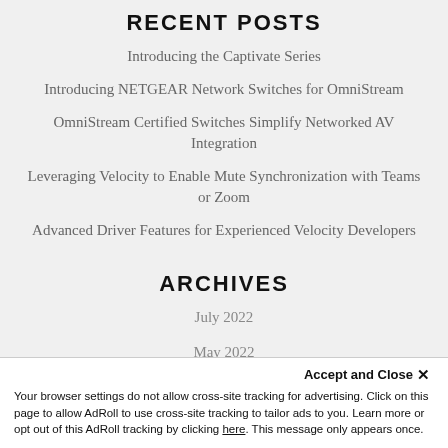RECENT POSTS
Introducing the Captivate Series
Introducing NETGEAR Network Switches for OmniStream
OmniStream Certified Switches Simplify Networked AV Integration
Leveraging Velocity to Enable Mute Synchronization with Teams or Zoom
Advanced Driver Features for Experienced Velocity Developers
ARCHIVES
July 2022
May 2022
March 2022
December 2021
Accept and Close ×
Your browser settings do not allow cross-site tracking for advertising. Click on this page to allow AdRoll to use cross-site tracking to tailor ads to you. Learn more or opt out of this AdRoll tracking by clicking here. This message only appears once.